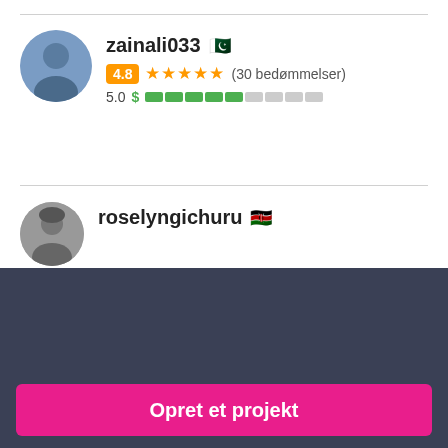[Figure (photo): Profile photo of zainali033, a young man, circular avatar]
zainali033 🇵🇰
4.8 ★★★★★ (30 bedømmelser)
5.0 $ ████░░░░░
[Figure (photo): Profile photo of roselyngichuru, a woman, circular avatar in grayscale]
roselyngichuru 🇰🇪
Har du brug for at ansætte en freelancer til et job?
Opret et projekt